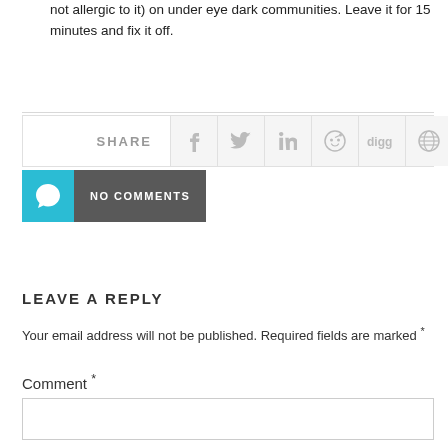not allergic to it) on under eye dark communities. Leave it for 15 minutes and fix it off.
[Figure (infographic): Social share bar with icons for Facebook, Twitter, LinkedIn, Reddit, Digg, globe/share, Google+, and email]
NO COMMENTS
LEAVE A REPLY
Your email address will not be published. Required fields are marked *
Comment *